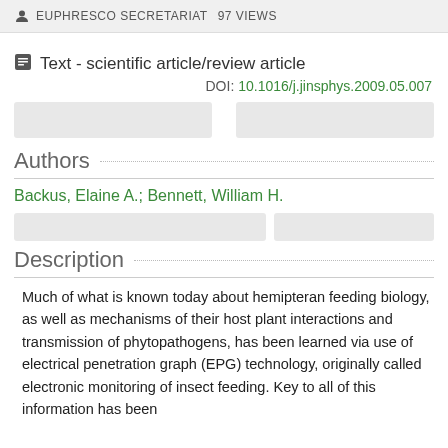EUPHRESCO SECRETARIAT 97 VIEWS
Text - scientific article/review article
DOI: 10.1016/j.jinsphys.2009.05.007
Authors
Backus, Elaine A.; Bennett, William H.
Description
Much of what is known today about hemipteran feeding biology, as well as mechanisms of their host plant interactions and transmission of phytopathogens, has been learned via use of electrical penetration graph (EPG) technology, originally called electronic monitoring of insect feeding. Key to all of this information has been